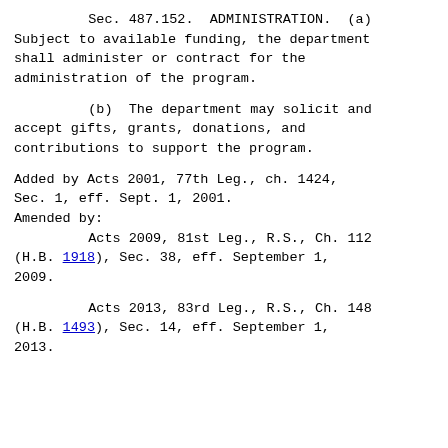Sec. 487.152.  ADMINISTRATION.  (a) Subject to available funding, the department shall administer or contract for the administration of the program.
        (b)  The department may solicit and accept gifts, grants, donations, and contributions to support the program.

Added by Acts 2001, 77th Leg., ch. 1424, Sec. 1, eff. Sept. 1, 2001.
Amended by:
        Acts 2009, 81st Leg., R.S., Ch. 112 (H.B. 1918), Sec. 38, eff. September 1, 2009.
        Acts 2013, 83rd Leg., R.S., Ch. 148 (H.B. 1493), Sec. 14, eff. September 1, 2013.